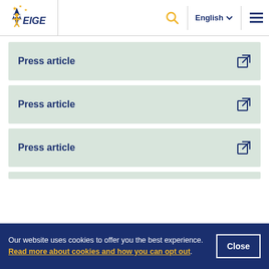[Figure (logo): EIGE European Institute for Gender Equality logo with blue star and yellow stars]
Press article
Press article
Press article
Our website uses cookies to offer you the best experience. Read more about cookies and how you can opt out.